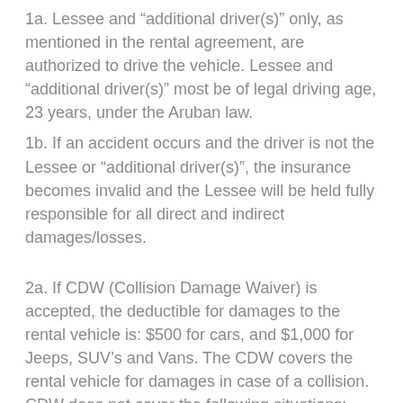1a. Lessee and “additional driver(s)” only, as mentioned in the rental agreement, are authorized to drive the vehicle. Lessee and “additional driver(s)” most be of legal driving age, 23 years, under the Aruban law.
1b. If an accident occurs and the driver is not the Lessee or “additional driver(s)”, the insurance becomes invalid and the Lessee will be held fully responsible for all direct and indirect damages/losses.
2a. If CDW (Collision Damage Waiver) is accepted, the deductible for damages to the rental vehicle is: $500 for cars, and $1,000 for Jeeps, SUV’s and Vans. The CDW covers the rental vehicle for damages in case of a collision. CDW does not cover the following situations: “One-way” accidents, driving under the influence of alcohol or drugs...